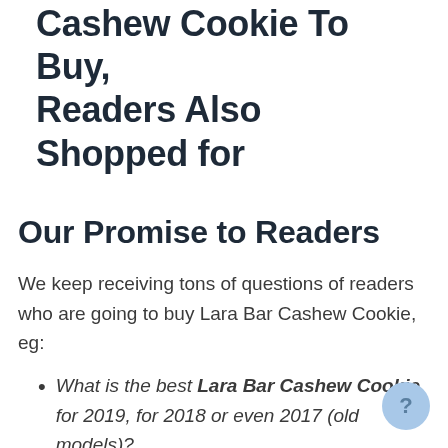Cashew Cookie To Buy, Readers Also Shopped for
Our Promise to Readers
We keep receiving tons of questions of readers who are going to buy Lara Bar Cashew Cookie, eg:
What is the best Lara Bar Cashew Cookie for 2019, for 2018 or even 2017 (old models)?